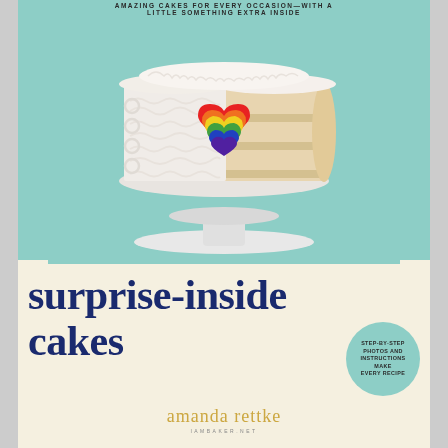AMAZING CAKES FOR EVERY OCCASION—WITH A LITTLE SOMETHING EXTRA INSIDE
[Figure (photo): Book cover of 'surprise-inside cakes' showing a white frosted layer cake on a pedestal stand, with a slice removed revealing a rainbow heart pattern inside, on a teal background]
surprise-inside cakes
[Figure (other): Circular teal badge reading STEP-BY-STEP PHOTOS AND INSTRUCTIONS MAKE EVERY RECIPE]
amanda rettke
IAMBAKER.NET